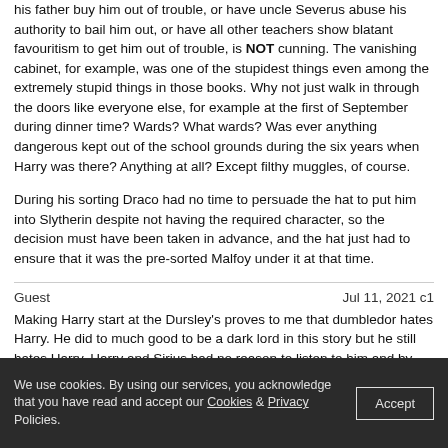his father buy him out of trouble, or have uncle Severus abuse his authority to bail him out, or have all other teachers show blatant favouritism to get him out of trouble, is NOT cunning. The vanishing cabinet, for example, was one of the stupidest things even among the extremely stupid things in those books. Why not just walk in through the doors like everyone else, for example at the first of September during dinner time? Wards? What wards? Was ever anything dangerous kept out of the school grounds during the six years when Harry was there? Anything at all? Except filthy muggles, of course.
During his sorting Draco had no time to persuade the hat to put him into Slytherin despite not having the required character, so the decision must have been taken in advance, and the hat just had to ensure that it was the pre-sorted Malfoy under it at that time.
Guest
Jul 11, 2021 c1
Making Harry start at the Dursley's proves to me that dumbledor hates Harry. He did to much good to be a dark lord in this story but he still hates Harry. Harry and Sirius had no reason to listen to him and by doing so ruined the epilogue for me. Harry should have never seen the Dursley's again unless it was in court to send them to jail for child neglect and abuse. Idiot writer.
Guest
Jun 4, 2021 c1
Forcing him to go back to his abusive home for what reason? The danger has mostly passed. The wards don't protect him in the entire neighborhood so they are for the most part useless anyway. So what reason would
We use cookies. By using our services, you acknowledge that you have read and accept our Cookies & Privacy Policies.